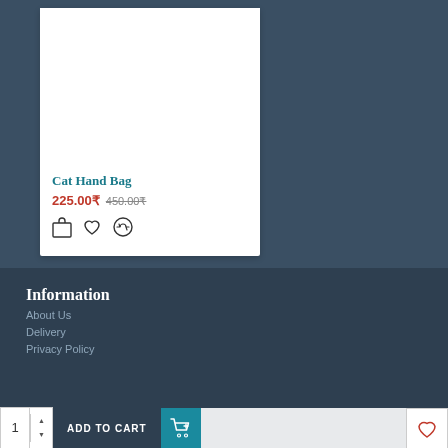[Figure (screenshot): Product card for Cat Hand Bag showing white card on dark blue background]
Cat Hand Bag
225.00₹ 450.00₹
Information
About Us
Delivery
Privacy Policy
1 ADD TO CART